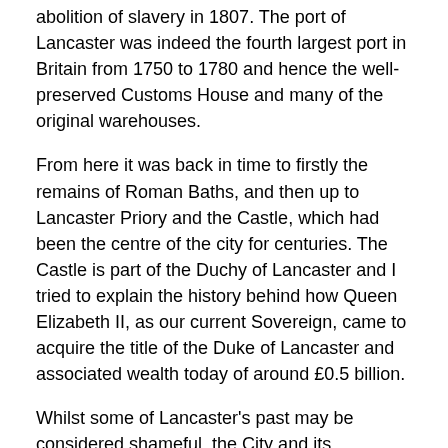abolition of slavery in 1807. The port of Lancaster was indeed the fourth largest port in Britain from 1750 to 1780 and hence the well-preserved Customs House and many of the original warehouses.
From here it was back in time to firstly the remains of Roman Baths, and then up to Lancaster Priory and the Castle, which had been the centre of the city for centuries. The Castle is part of the Duchy of Lancaster and I tried to explain the history behind how Queen Elizabeth II, as our current Sovereign, came to acquire the title of the Duke of Lancaster and associated wealth today of around £0.5 billion.
Whilst some of Lancaster's past may be considered shameful, the City and its inhabitants did seem to try and make amends for this with examples of philanthropy such as the Dispensary and the Storey Institute on Castle Hill. Onward past the oldest house in Lancaster, the Judges House from 1640 to more recent buildings emphasising the City's heritage such as the Lancaster Joint Stock Bank and Co-op on Church Street, to the old Town Hall and Library in Market Square. The former houses a free